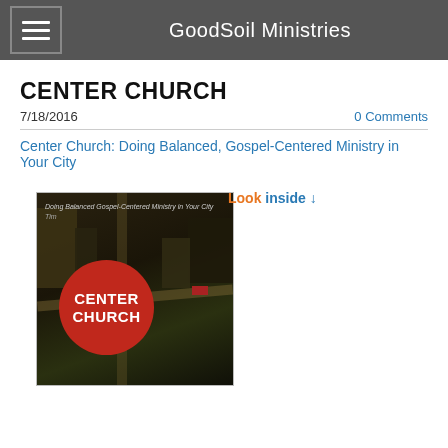GoodSoil Ministries
CENTER CHURCH
7/18/2016
0 Comments
Center Church: Doing Balanced, Gospel-Centered Ministry in Your City
[Figure (photo): Book cover of Center Church showing an aerial view of city streets with a red circle containing the text CENTER CHURCH, and subtitle Doing Balanced Gospel-Centered Ministry in Your City. Above the book cover is a 'Look inside' link.]